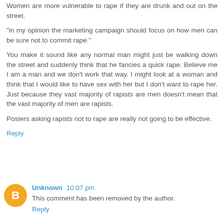Women are more vulnerable to rape if they are drunk and out on the street.
"in my opinion the marketing campaign should focus on how men can be sure not to commit rape."
You make it sound like any normal man might just be walking down the street and suddenly think that he fancies a quick rape. Believe me I am a man and we don't work that way. I might look at a woman and think that I would like to have sex with her but I don't want to rape her. Just because they vast majority of rapists are men doesn't mean that the vast majority of men are rapists.
Posters asking rapists not to rape are really not going to be effective.
Reply
Unknown  10:07 pm
This comment has been removed by the author.
Reply